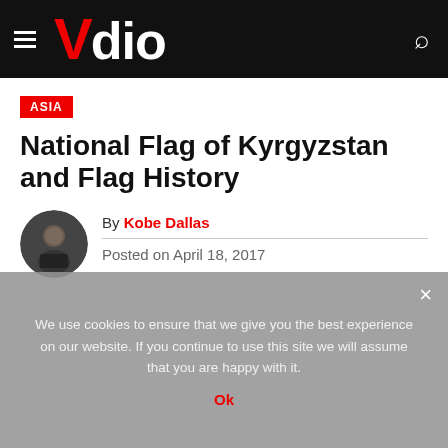Vdio
ASIA
National Flag of Kyrgyzstan and Flag History
By Kobe Dallas
Posted on April 18, 2017
We use cookies to ensure that we give you the best experience on our website. If you continue to use this site we will assume that you are happy with it.
Ok